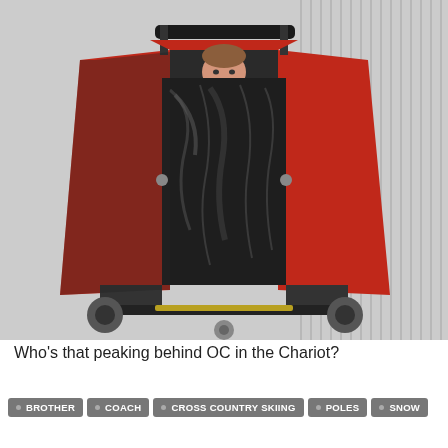[Figure (photo): A child peeking out from behind a red Chariot stroller/trailer on a snowy cross-country ski trail, viewed from the front. The stroller has a black vinyl rain cover and red fabric sides. The background shows groomed ski tracks in snow.]
Who's that peaking behind OC in the Chariot?
BROTHER
COACH
CROSS COUNTRY SKIING
POLES
SNOW